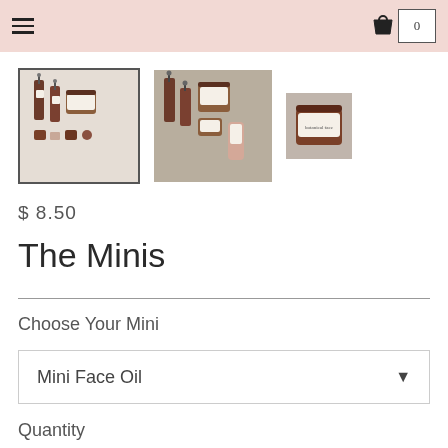Navigation menu and cart icon (0 items)
[Figure (photo): Three product photos: first (selected/highlighted) shows a collection of amber dropper bottles and a jar with white labels, second shows similar dropper bottles and jars on a beige background, third shows a single amber jar.]
$ 8.50
The Minis
Choose Your Mini
Mini Face Oil
Quantity